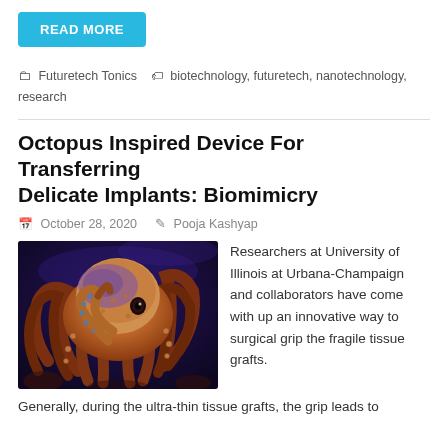READ MORE
Futuretech Tonics   biotechnology, futuretech, nanotechnology, research
Octopus Inspired Device For Transferring Delicate Implants: Biomimicry
October 28, 2020   Pooja Kashyap
[Figure (photo): Close-up photo of an octopus underwater with purple and orange coloring, multiple tentacles with suckers visible against a dark blue background]
Researchers at University of Illinois at Urbana-Champaign and collaborators have come with up an innovative way to surgical grip the fragile tissue grafts.
Generally, during the ultra-thin tissue grafts, the grip leads to